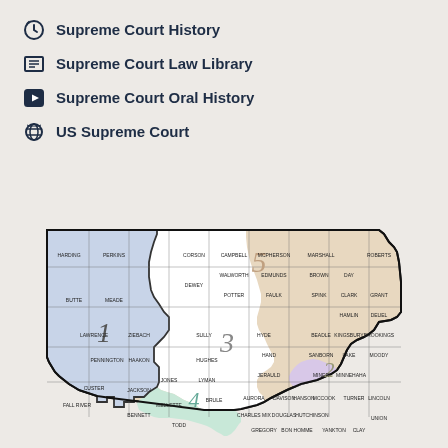Supreme Court History
Supreme Court Law Library
Supreme Court Oral History
US Supreme Court
[Figure (map): South Dakota judicial circuit map showing 5 numbered circuits with county boundaries. Circuit 1 (blue) in western Black Hills area, Circuit 2 (light purple) in far southeast corner, Circuit 3 (white) in central, Circuit 4 (light green) in southeast, Circuit 5 (tan/beige) in north-central and northeast. Counties labeled throughout.]